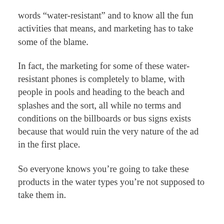words “water-resistant” and to know all the fun activities that means, and marketing has to take some of the blame.
In fact, the marketing for some of these water-resistant phones is completely to blame, with people in pools and heading to the beach and splashes and the sort, all while no terms and conditions on the billboards or bus signs exists because that would ruin the very nature of the ad in the first place.
So everyone knows you’re going to take these products in the water types you’re not supposed to take them in.